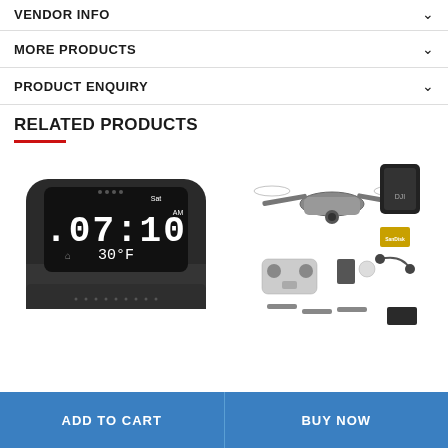VENDOR INFO
MORE PRODUCTS
PRODUCT ENQUIRY
RELATED PRODUCTS
[Figure (photo): A Lenovo Smart Clock displaying 07:10 AM, Saturday, 30°F on a black rounded rectangular device with fabric speaker grille]
[Figure (photo): A DJI Mavic Pro drone bundle with accessories including carry case, remote controller, SD card, earphones, and extra propellers]